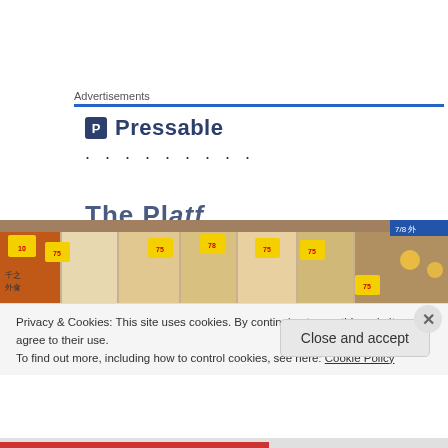Advertisements
[Figure (logo): Pressable logo with bold P icon and 'Pressable' text]
· · · · · · · · ·
The Pl...f
[Figure (photo): Photo of Japanese restaurant menu boards with yellow sale stickers and food images on the wall]
Privacy & Cookies: This site uses cookies. By continuing to use this website, you agree to their use.
To find out more, including how to control cookies, see here: Cookie Policy
Close and accept